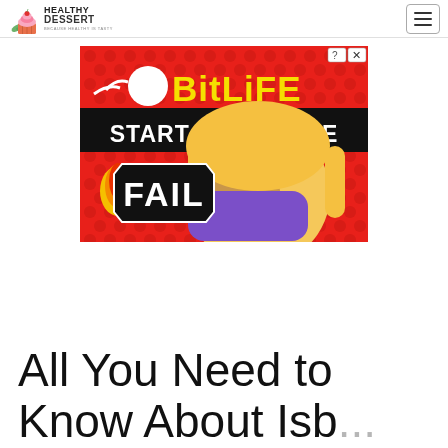HEALTHY DESSERT – BECAUSE HEALTHY IS TASTY
[Figure (screenshot): BitLife advertisement banner with red polka-dot background, sperm logo, yellow 'BitLife' text, 'START A NEW LIFE' on black banner, cartoon blonde woman covering face with hand and 'FAIL' text overlay]
All You Need to Know About Isb...